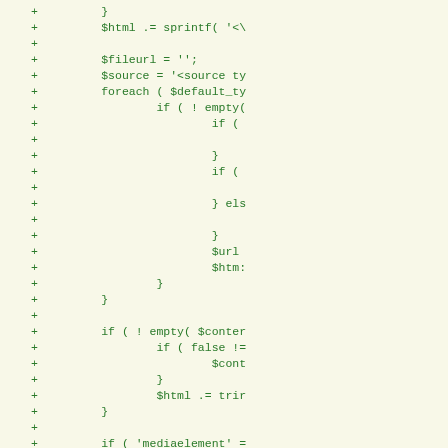[Figure (screenshot): A code diff view showing PHP source code lines prefixed with '+' symbols (additions), displayed in green monospace font on a light yellow-green background. The code shows PHP logic involving $html, $fileurl, $source, foreach loops, if conditions, $url, $html, $content checks, and video element handling including 'mediaelement' check and $html .= '</video>';.]